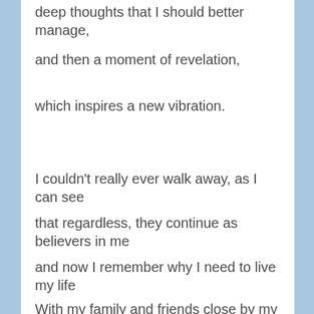deep thoughts that I should better manage,
and then a moment of revelation,
which inspires a new vibration.
I couldn't really ever walk away, as I can see
that regardless, they continue as believers in me
and now I remember why I need to live my life
With my family and friends close by my side.
They serve to remind me that life is precious,
and to show that my perspective was feckless.